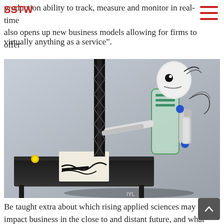SSTW
production ability to track, measure and monitor in real-time also opens up new business models allowing for firms to offer virtually anything as a service”.
[Figure (photo): A humanoid robot leaning over a table, appearing to write on paper. The robot has a white rounded head, mechanical arms, and a transparent torso with green and blue components. A metal truss structure is visible in the background on the left.]
Be taught extra about which rising applied sciences may impact business in the close to and distant future, and what affect they’ll have on market dynamics. Let’s set up a time to debate